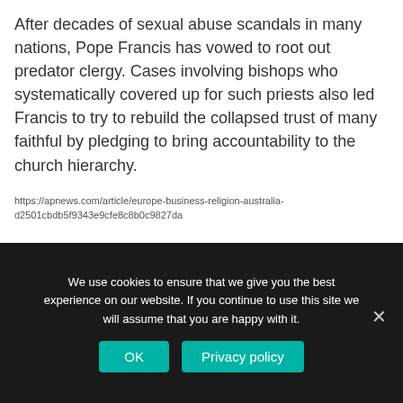After decades of sexual abuse scandals in many nations, Pope Francis has vowed to root out predator clergy. Cases involving bishops who systematically covered up for such priests also led Francis to try to rebuild the collapsed trust of many faithful by pledging to bring accountability to the church hierarchy.
https://apnews.com/article/europe-business-religion-australia-d2501cbdb5f9343e9cfe8c8b0c9827da
Previous
Next
We use cookies to ensure that we give you the best experience on our website. If you continue to use this site we will assume that you are happy with it.